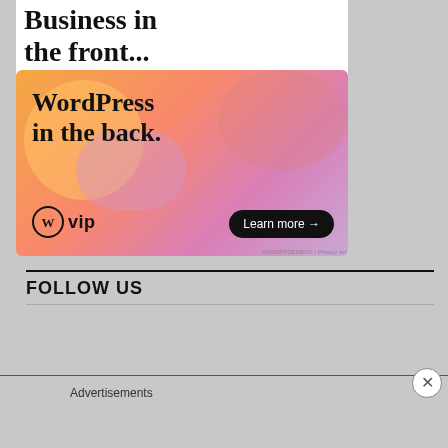[Figure (illustration): WordPress VIP advertisement banner showing 'Business in the front...' headline text at top, followed by a colorful gradient banner (orange, pink, purple) with 'WordPress in the back.' text, WordPress VIP logo, and 'Learn more →' button]
FOLLOW US
[Figure (illustration): Longreads advertisement banner in red/burgundy color showing the Longreads logo and tagline 'The best stories on the web — ours, and everyone else's.' with 'Advertisements' label above]
Advertisements